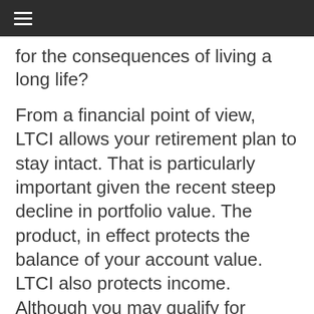≡
for the consequences of living a long life?
From a financial point of view, LTCI allows your retirement plan to stay intact. That is particularly important given the recent steep decline in portfolio value. The product, in effect protects the balance of your account value. LTCI also protects income. Although you may qualify for Medicaid to pay for nursing home costs by transferring assets, your income (pension, social security, IRA and or 401(k) payout) cannot be protected. In addition, IRA's and other retirement plans can be used to fund new long-term care plans that promise to return premiums if...